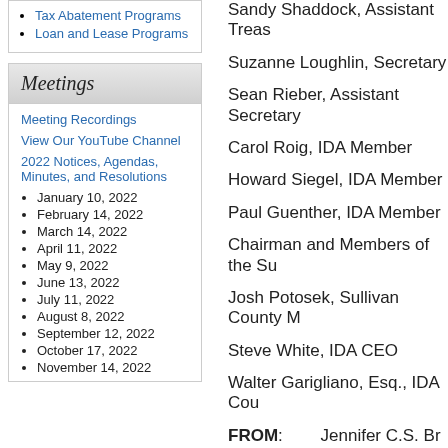Tax Abatement Programs
Loan and Lease Programs
Meetings
Meeting Recordings
View Our YouTube Channel
2022 Notices, Agendas, Minutes, and Resolutions
January 10, 2022
February 14, 2022
March 14, 2022
April 11, 2022
May 9, 2022
June 13, 2022
July 11, 2022
August 8, 2022
September 12, 2022
October 17, 2022
November 14, 2022
Sandy Shaddock, Assistant Treas
Suzanne Loughlin, Secretary
Sean Rieber, Assistant Secretary
Carol Roig, IDA Member
Howard Siegel, IDA Member
Paul Guenther, IDA Member
Chairman and Members of the Su
Josh Potosek, Sullivan County M
Steve White, IDA CEO
Walter Garigliano, Esq., IDA Cou
FROM:        Jennifer C.S. Br